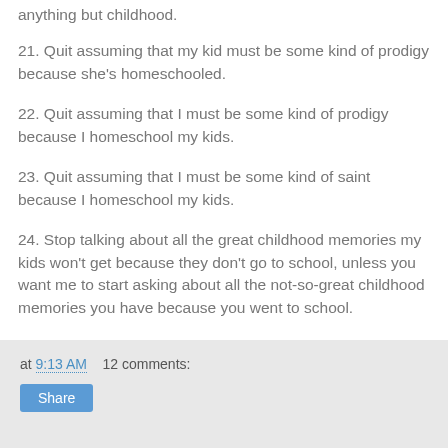anything but childhood.
21. Quit assuming that my kid must be some kind of prodigy because she's homeschooled.
22. Quit assuming that I must be some kind of prodigy because I homeschool my kids.
23. Quit assuming that I must be some kind of saint because I homeschool my kids.
24. Stop talking about all the great childhood memories my kids won't get because they don't go to school, unless you want me to start asking about all the not-so-great childhood memories you have because you went to school.
25. Here's a thought: If you can't say something nice about homeschooling, shut up!
at 9:13 AM   12 comments: